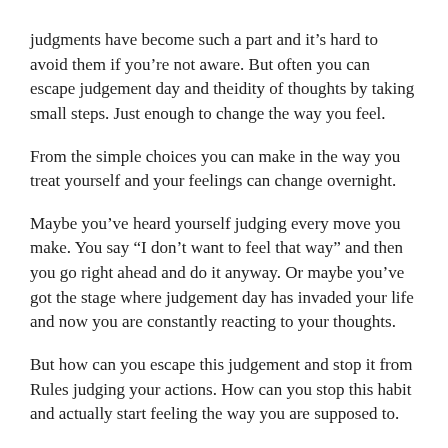judgments have become such a part and it’s hard to avoid them if you’re not aware. But often you can escape judgement day and theidity of thoughts by taking small steps. Just enough to change the way you feel.
From the simple choices you can make in the way you treat yourself and your feelings can change overnight.
Maybe you’ve heard yourself judging every move you make. You say “I don’t want to feel that way” and then you go right ahead and do it anyway. Or maybe you’ve got the stage where judgement day has invaded your life and now you are constantly reacting to your thoughts.
But how can you escape this judgement and stop it from Rules judging your actions. How can you stop this habit and actually start feeling the way you are supposed to.